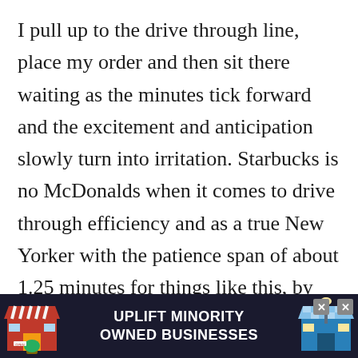I pull up to the drive through line, place my order and then sit there waiting as the minutes tick forward and the excitement and anticipation slowly turn into irritation. Starbucks is no McDonalds when it comes to drive through efficiency and as a true New Yorker with the patience span of about 1.25 minutes for things like this, by the time I get to the window, I'm pretty sure there is steam coming out of my ears. It takes all my might to remain friendly and polite instead of making some snide remark asking them if they were ha... [ad obscures] ...kinot.
[Figure (infographic): Advertisement banner: 'UPLIFT MINORITY OWNED BUSINESSES' with illustrated store fronts on left and right, dark navy background, close buttons in upper right corner.]